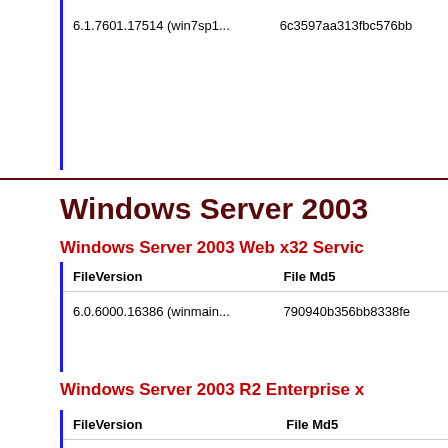| FileVersion | File Md5 |
| --- | --- |
| 6.1.7601.17514 (win7sp1... | 6c3597aa313fbc576bb... |
Windows Server 2003
Windows Server 2003 Web x32 Service...
| FileVersion | File Md5 |
| --- | --- |
| 6.0.6000.16386 (winmain... | 790940b356bb8338fe... |
Windows Server 2003 R2 Enterprise x...
| FileVersion | File Md5 |
| --- | --- |